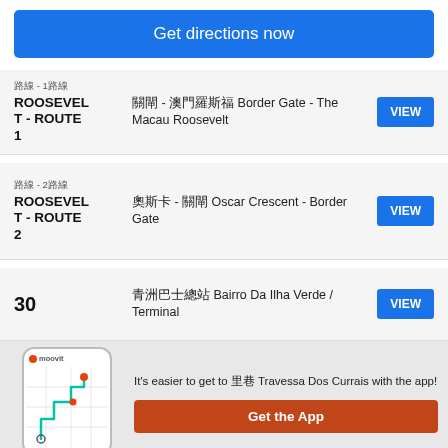Get directions now
路線 - 1路線 ROOSEVELT - ROUTE 1 | 關閘 - 澳門羅斯福 Border Gate - The Macau Roosevelt | VIEW
路線 - 2路線 ROOSEVELT - ROUTE 2 | 奧斯卡 - 關閘 Oscar Crescent - Border Gate | VIEW
30 | 青洲巴士總站 Bairro Da Ilha Verde / Terminal | VIEW
It's easier to get to 里巷 Travessa Dos Currais with the app!
Get the App